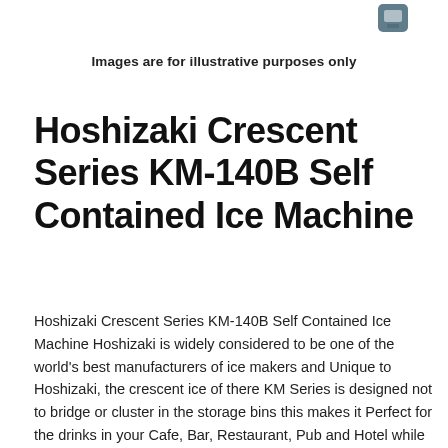[Figure (illustration): Small icon/logo image at top right corner of the page]
Images are for illustrative purposes only
Hoshizaki Crescent Series KM-140B Self Contained Ice Machine
Hoshizaki Crescent Series KM-140B Self Contained Ice Machine Hoshizaki is widely considered to be one of the world's best manufacturers of ice makers and Unique to Hoshizaki, the crescent ice of there KM Series is designed not to bridge or cluster in the storage bins this makes it Perfect for the drinks in your Cafe, Bar, Restaurant, Pub and Hotel while the precision engineering, Cycle Saver technology and an Evercheck control board manages any trouble shooting and correct operation reducing downtime and maintenance.